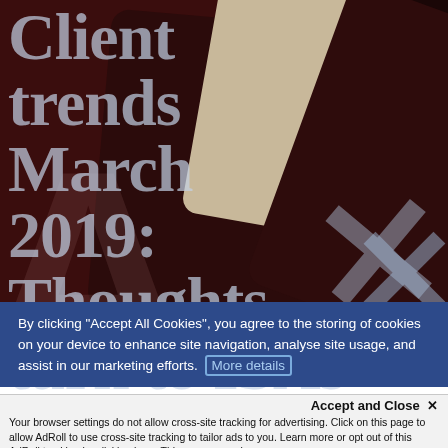[Figure (photo): Dark maroon playing cards with embossed letter X marks, overlaid with large semi-transparent serif text reading 'Client trends March 2019: Thoughts turn to ISAs']
Client trends March 2019: Thoughts turn to ISAs
By clicking "Accept All Cookies", you agree to the storing of cookies on your device to enhance site navigation, analyse site usage, and assist in our marketing efforts. More details
Accept and Close ✕
Your browser settings do not allow cross-site tracking for advertising. Click on this page to allow AdRoll to use cross-site tracking to tailor ads to you. Learn more or opt out of this AdRoll tracking by clicking here. This message only appears once.